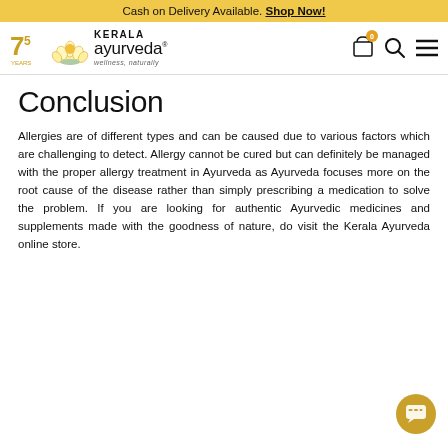Cash on Delivery Available. Shop Now!
[Figure (logo): Kerala Ayurveda logo with 75th anniversary badge, lotus flower, brand name and tagline 'wellness, naturally']
Conclusion
Allergies are of different types and can be caused due to various factors which are challenging to detect. Allergy cannot be cured but can definitely be managed with the proper allergy treatment in Ayurveda as Ayurveda focuses more on the root cause of the disease rather than simply prescribing a medication to solve the problem. If you are looking for authentic Ayurvedic medicines and supplements made with the goodness of nature, do visit the Kerala Ayurveda online store.